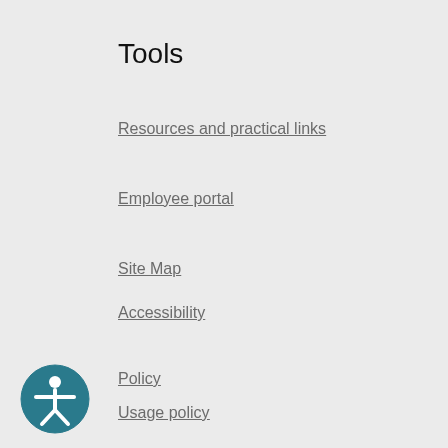Tools
Resources and practical links
Employee portal
Site Map
Accessibility
Policy
Usage policy
[Figure (illustration): Circular accessibility icon with a person figure in white on a teal/dark cyan background]